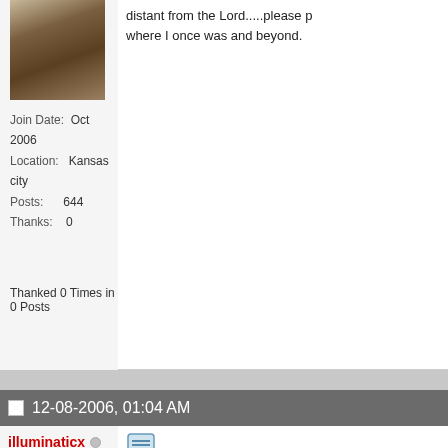[Figure (photo): User profile photo - person wearing white hat, sepia/brown tones]
Join Date: Oct 2006
Location: Kansas city
Posts: 644
Thanks: 0
Thanked 0 Times in 0 Posts
distant from the Lord.....please p
where I once was and beyond.
12-08-2006, 01:04 AM
illuminaticx
HCR Veterano
[Figure (photo): User profile photo - person lying on ground with arms outstretched]
Join Date: Oct 2005
Location: Houston
Posts: 2,626
Thanks: 261
Thanked 287 Times in 161 Posts
Just a question... What makes yo
God? I really doubt that... I think
weren't you would not have post
I think when Christians see them
back in the word and in prayer. T
from God Almighty. Your growing
will heed the tug in your spirit. If
God. God always leaves it up to
sense... It sure did in my head.

J =]